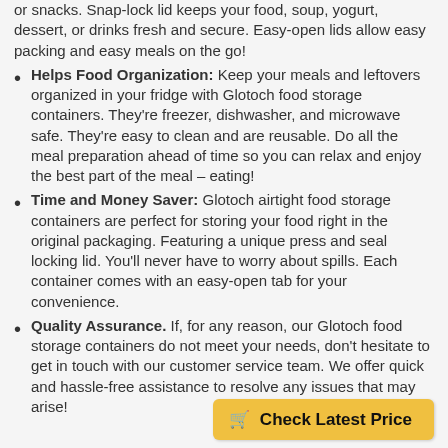or snacks. Snap-lock lid keeps your food, soup, yogurt, dessert, or drinks fresh and secure. Easy-open lids allow easy packing and easy meals on the go!
Helps Food Organization: Keep your meals and leftovers organized in your fridge with Glotoch food storage containers. They're freezer, dishwasher, and microwave safe. They're easy to clean and are reusable. Do all the meal preparation ahead of time so you can relax and enjoy the best part of the meal – eating!
Time and Money Saver: Glotoch airtight food storage containers are perfect for storing your food right in the original packaging. Featuring a unique press and seal locking lid. You'll never have to worry about spills. Each container comes with an easy-open tab for your convenience.
Quality Assurance. If, for any reason, our Glotoch food storage containers do not meet your needs, don't hesitate to get in touch with our customer service team. We offer quick and hassle-free assistance to resolve any issues that may arise!